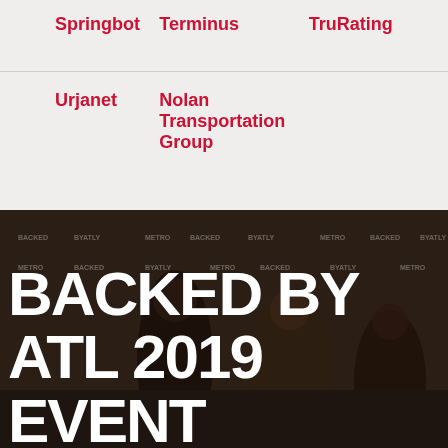| Springbot | Terminus | TruRating |
| Urjanet | Nolan Transportation Group |  |
[Figure (photo): Event photo showing people at a 'Backed by ATL' branded backdrop with text overlay reading 'BACKED BY ATL 2019 COHORT EVENT']